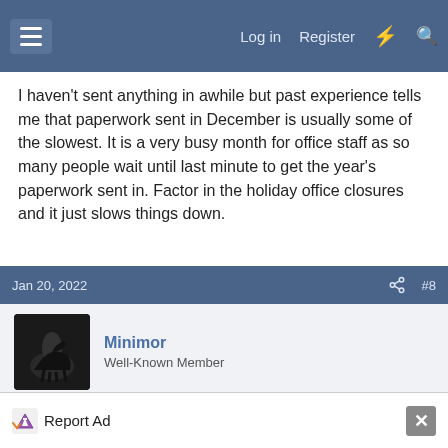Log in | Register
I haven't sent anything in awhile but past experience tells me that paperwork sent in December is usually some of the slowest. It is a very busy month for office staff as so many people wait until last minute to get the year's paperwork sent in. Factor in the holiday office closures and it just slows things down.
Jan 20, 2022  #8
Minimor
Well-Known Member
Always keep copies of everything you send in.
MaryFlora and Kelly
Report Ad